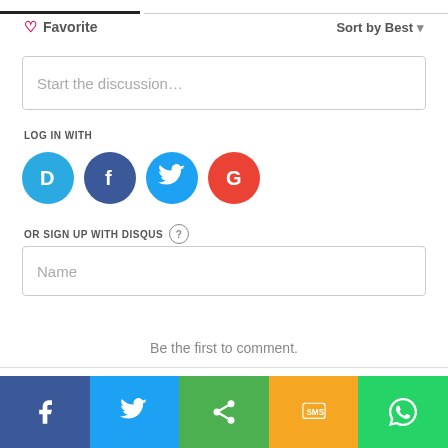♡ Favorite
Sort by Best ▼
Start the discussion…
LOG IN WITH
[Figure (infographic): Four social login icons: Disqus (blue D), Facebook (dark blue F), Twitter (light blue bird), Google (red G)]
OR SIGN UP WITH DISQUS ?
Name
Be the first to comment.
[Figure (infographic): Bottom share bar with Facebook (blue), Twitter (light blue), Share (green), SMS (yellow/orange), WhatsApp (green) buttons]